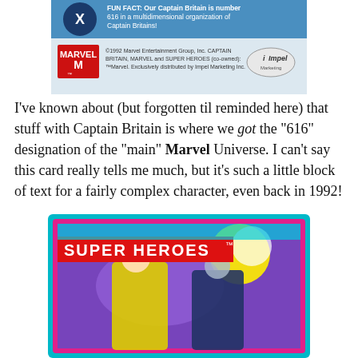[Figure (photo): Top portion of a 1992 Marvel Super Heroes trading card showing Captain Britain back text. Blue background with Marvel logo and Impel logo. Text reads: 'Our Captain Britain is number 616 in a multidimensional organization of Captain Britains!' with copyright notice: '©1992 Marvel Entertainment Group, Inc. CAPTAIN BRITAIN, MARVEL and SUPER HEROES (co-owned): ™Marvel. Exclusively distributed by Impel Marketing Inc.']
I've known about (but forgotten til reminded here) that stuff with Captain Britain is where we got the "616" designation of the "main" Marvel Universe. I can't say this card really tells me much, but it's such a little block of text for a fairly complex character, even back in 1992!
[Figure (photo): Bottom portion of a 1992 Marvel Super Heroes trading card front. Teal and pink border. Red banner reads 'SUPER HEROES™' in white bold text. Artwork shows two Marvel characters in yellow and black costumes fighting against a purple/explosion background.]